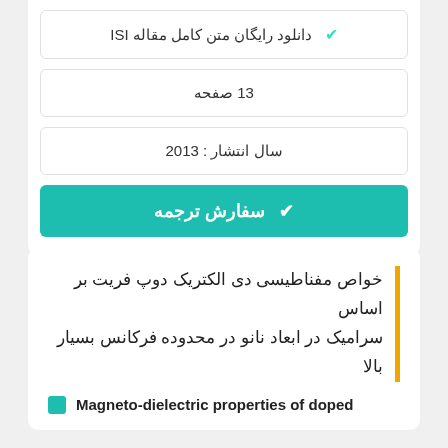✔ دانلود رایگان متن کامل مقاله ISI
13 صفحه
سال انتشار : 2013
✔ سفارش ترجمه
خواص مفناطیسی دی الکتریک دوپ فریت بر اساس سرامیک در ابعاد نانو در محدوده فرکانس بسیار بالا
Magneto-dielectric properties of doped